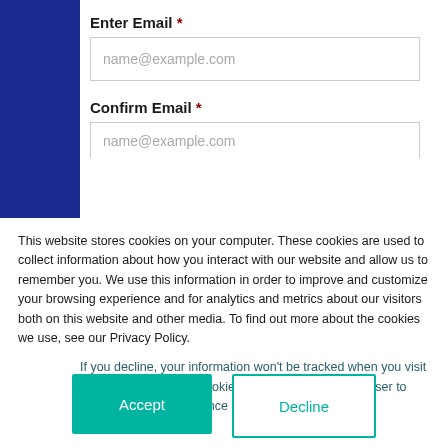Enter Email *
[Figure (screenshot): Email input field with placeholder text name@example.com]
Confirm Email *
[Figure (screenshot): Confirm email input field with placeholder text name@example.com (partially visible, cut off)]
This website stores cookies on your computer. These cookies are used to collect information about how you interact with our website and allow us to remember you. We use this information in order to improve and customize your browsing experience and for analytics and metrics about our visitors both on this website and other media. To find out more about the cookies we use, see our Privacy Policy.
If you decline, your information won’t be tracked when you visit this website. A single cookie will be used in your browser to remember your preference not to be tracked.
Accept
Decline